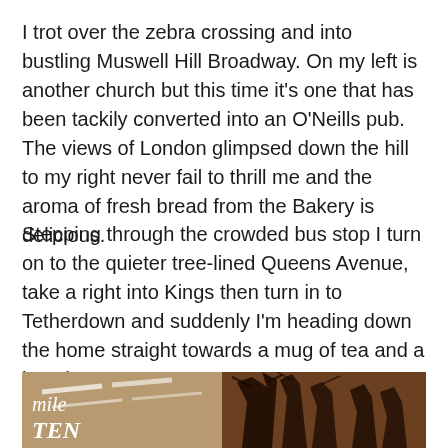I trot over the zebra crossing and into bustling Muswell Hill Broadway. On my left is another church but this time it's one that has been tackily converted into an O'Neills pub. The views of London glimpsed down the hill to my right never fail to thrill me and the aroma of fresh bread from the Bakery is delicious.
Stepping through the crowded bus stop I turn on to the quieter tree-lined Queens Avenue, take a right into Kings then turn in to Tetherdown and suddenly I'm heading down the home straight towards a mug of tea and a hot shower.
[Figure (photo): Sepia-toned photo showing a road with white lane markings on the left half and bare silhouetted trees on the right half. Handwritten text 'Mile TEN' is overlaid in white on the lower-left of the image.]